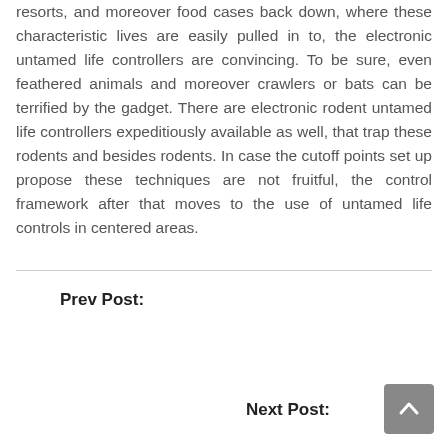resorts, and moreover food cases back down, where these characteristic lives are easily pulled in to, the electronic untamed life controllers are convincing. To be sure, even feathered animals and moreover crawlers or bats can be terrified by the gadget. There are electronic rodent untamed life controllers expeditiously available as well, that trap these rodents and besides rodents. In case the cutoff points set up propose these techniques are not fruitful, the control framework after that moves to the use of untamed life controls in centered areas.
Prev Post:
Next Post: